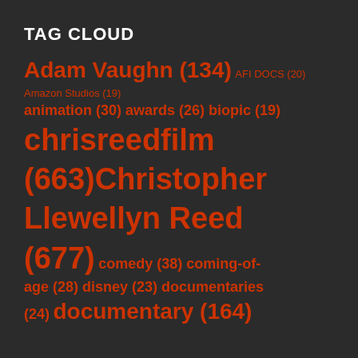TAG CLOUD
Adam Vaughn (134) AFI DOCS (20) Amazon Studios (19) animation (30) awards (26) biopic (19) chrisreedfilm (663) Christopher Llewellyn Reed (677) comedy (38) coming-of-age (28) disney (23) documentaries (24) documentary (164)